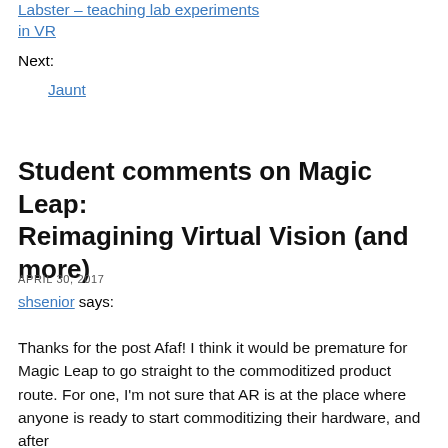Labster – teaching lab experiments in VR
Next:
Jaunt
Student comments on Magic Leap: Reimagining Virtual Vision (and more)
APRIL 30, 2017
shsenior says:
Thanks for the post Afaf! I think it would be premature for Magic Leap to go straight to the commoditized product route. For one, I'm not sure that AR is at the place where anyone is ready to start commoditizing their hardware, and after